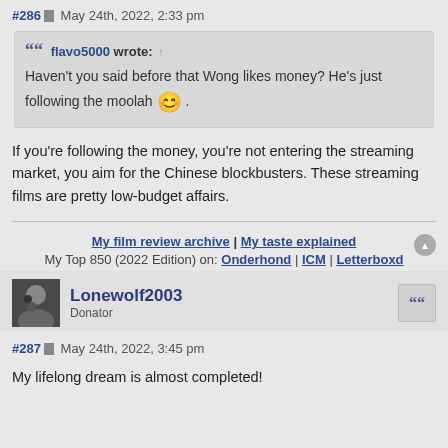#286 May 24th, 2022, 2:33 pm
flavo5000 wrote: ↑ Haven't you said before that Wong likes money? He's just following the moolah 😊 .
If you're following the money, you're not entering the streaming market, you aim for the Chinese blockbusters. These streaming films are pretty low-budget affairs.
My film review archive | My taste explained
My Top 850 (2022 Edition) on: Onderhond | ICM | Letterboxd
Lonewolf2003 Donator
#287 May 24th, 2022, 3:45 pm
My lifelong dream is almost completed!